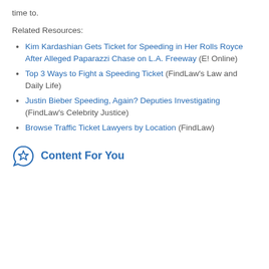time to.
Related Resources:
Kim Kardashian Gets Ticket for Speeding in Her Rolls Royce After Alleged Paparazzi Chase on L.A. Freeway (E! Online)
Top 3 Ways to Fight a Speeding Ticket (FindLaw's Law and Daily Life)
Justin Bieber Speeding, Again? Deputies Investigating (FindLaw's Celebrity Justice)
Browse Traffic Ticket Lawyers by Location (FindLaw)
Content For You